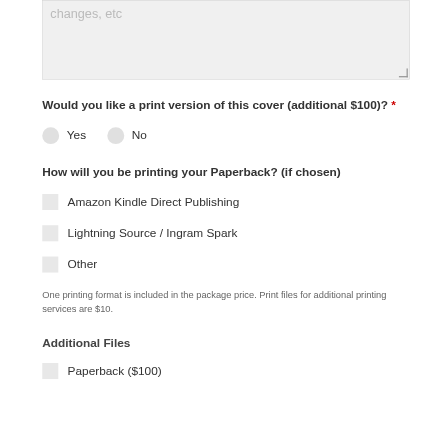[Figure (screenshot): Partially visible textarea input field with placeholder text 'changes, etc' and a resize handle in the bottom-right corner]
Would you like a print version of this cover (additional $100)? *
Yes (radio button)
No (radio button)
How will you be printing your Paperback? (if chosen)
Amazon Kindle Direct Publishing
Lightning Source / Ingram Spark
Other
One printing format is included in the package price. Print files for additional printing services are $10.
Additional Files
Paperback ($100)